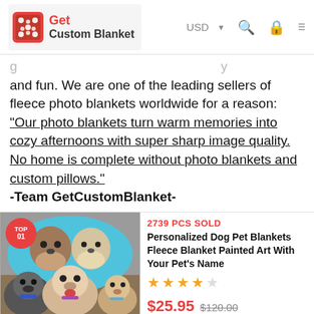Get Custom Blanket | USD | search | cart | menu
and fun. We are one of the leading sellers of fleece photo blankets worldwide for a reason:
"Our photo blankets turn warm memories into cozy afternoons with super sharp image quality. No home is complete without photo blankets and custom pillows."
-Team GetCustomBlanket-
[Figure (photo): Three dogs posing in front of a custom painted art fleece blanket featuring two dogs, with a 'TOP 01' badge overlay]
2739 PCS SOLD
Personalized Dog Pet Blankets Fleece Blanket Painted Art With Your Pet's Name
★★★★☆
$25.95 $120.00
Buy Now